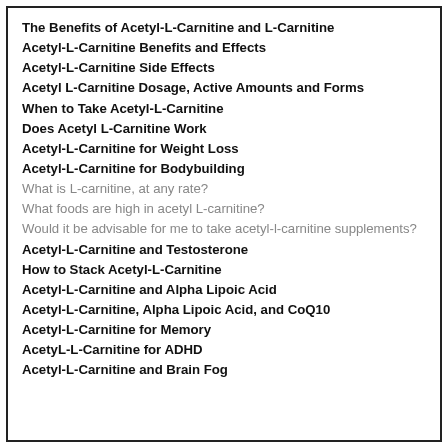The Benefits of Acetyl-L-Carnitine and L-Carnitine
Acetyl-L-Carnitine Benefits and Effects
Acetyl-L-Carnitine Side Effects
Acetyl L-Carnitine Dosage, Active Amounts and Forms
When to Take Acetyl-L-Carnitine
Does Acetyl L-Carnitine Work
Acetyl-L-Carnitine for Weight Loss
Acetyl-L-Carnitine for Bodybuilding
What is L-carnitine, at any rate?
What foods are high in acetyl L-carnitine?
Would it be advisable for me to take acetyl-l-carnitine supplements?
Acetyl-L-Carnitine and Testosterone
How to Stack Acetyl-L-Carnitine
Acetyl-L-Carnitine and Alpha Lipoic Acid
Acetyl-L-Carnitine, Alpha Lipoic Acid, and CoQ10
Acetyl-L-Carnitine for Memory
AcetyL-L-Carnitine for ADHD
Acetyl-L-Carnitine and Brain Fog